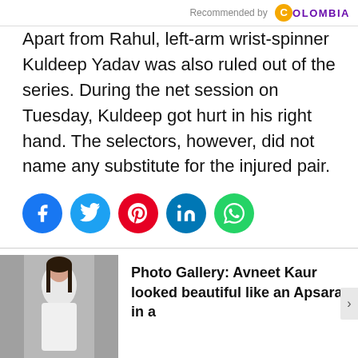Recommended by COLOMBIA
Apart from Rahul, left-arm wrist-spinner Kuldeep Yadav was also ruled out of the series. During the net session on Tuesday, Kuldeep got hurt in his right hand. The selectors, however, did not name any substitute for the injured pair.
[Figure (infographic): Social media share icons: Facebook (blue), Twitter (light blue), Pinterest (red), LinkedIn (blue), WhatsApp (green)]
[Figure (photo): Photo of Avneet Kaur in a white outfit, standing against a grey background]
Photo Gallery: Avneet Kaur looked beautiful like an Apsara in a
Read Next Story >